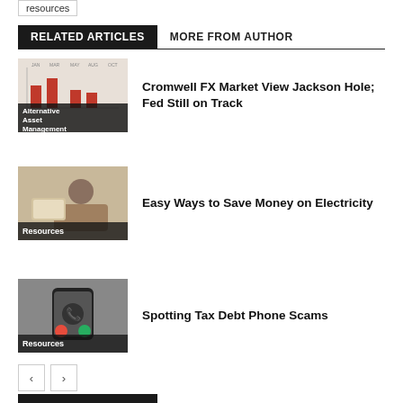resources
RELATED ARTICLES	MORE FROM AUTHOR
[Figure (other): Thumbnail image with bar chart graphic and label 'Alternative Asset Management']
Cromwell FX Market View Jackson Hole; Fed Still on Track
[Figure (photo): Person reading a document at a desk, label 'Resources']
Easy Ways to Save Money on Electricity
[Figure (photo): Close-up of a smartphone showing an incoming call, label 'Resources']
Spotting Tax Debt Phone Scams